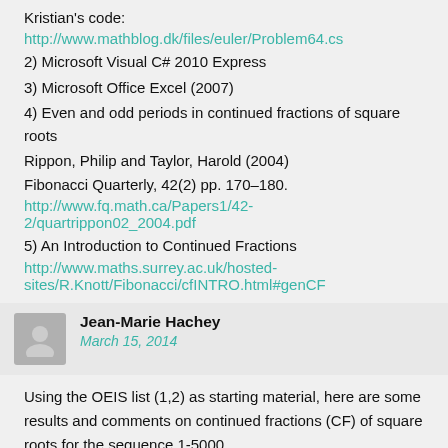Kristian's code:
http://www.mathblog.dk/files/euler/Problem64.cs
2) Microsoft Visual C# 2010 Express
3) Microsoft Office Excel (2007)
4) Even and odd periods in continued fractions of square roots
Rippon, Philip and Taylor, Harold (2004)
Fibonacci Quarterly, 42(2) pp. 170–180.
http://www.fq.math.ca/Papers1/42-2/quartrippon02_2004.pdf
5) An Introduction to Continued Fractions
http://www.maths.surrey.ac.uk/hosted-sites/R.Knott/Fibonacci/cfINTRO.html#genCF
Jean-Marie Hachey
March 15, 2014
Using the OEIS list (1,2) as starting material, here are some results and comments on continued fractions (CF) of square roots for the sequence 1-5000.
Table 1
Continued fractions of square roots: